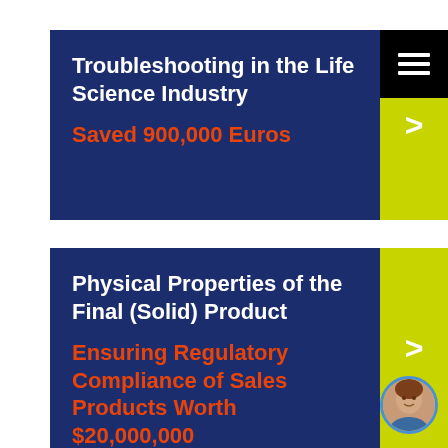Troubleshooting in the Life Science Industry
Saved 900,000 Euros
Physical Properties of the Final (Solid) Product
Ensuring Regulatory Compliance of Sales Products Worth $20,000,000